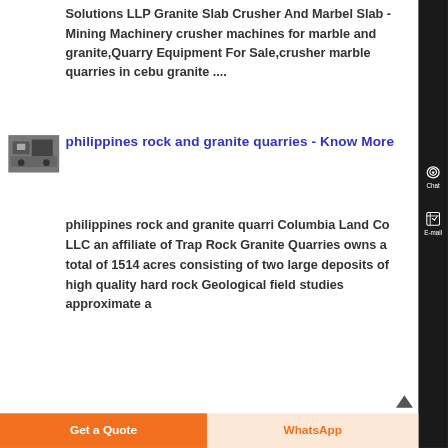Solutions LLP Granite Slab Crusher And Marbel Slab - Mining Machinery crusher machines for marble and granite,Quarry Equipment For Sale,crusher marble quarries in cebu granite ....
[Figure (photo): Small thumbnail photograph showing industrial machinery or quarry equipment]
philippines rock and granite quarries - Know More
philippines rock and granite quarri Columbia Land Co LLC an affiliate of Trap Rock Granite Quarries owns a total of 1514 acres consisting of two large deposits of high quality hard rock Geological field studies approximate a
Get a Quote
WhatsApp